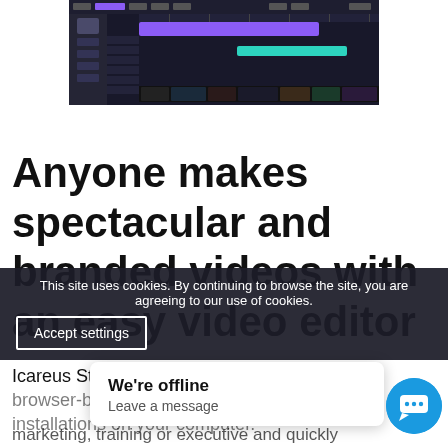[Figure (screenshot): Screenshot of Icareus Studio video editor interface showing dark-themed timeline with purple and teal colored tracks]
Anyone makes spectacular and branded videos with an easy video editor
Icareus Studio Video Editor is an easy-to-use, browser-based video editor that requires no installations on your computer.
This site uses cookies. By continuing to browse the site, you are agreeing to our use of cookies.
Accept settings
We're offline
Leave a message
marketing, training or executive and quickly